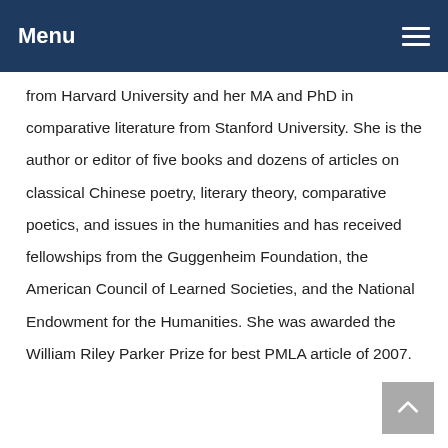Menu
from Harvard University and her MA and PhD in comparative literature from Stanford University. She is the author or editor of five books and dozens of articles on classical Chinese poetry, literary theory, comparative poetics, and issues in the humanities and has received fellowships from the Guggenheim Foundation, the American Council of Learned Societies, and the National Endowment for the Humanities. She was awarded the William Riley Parker Prize for best PMLA article of 2007.